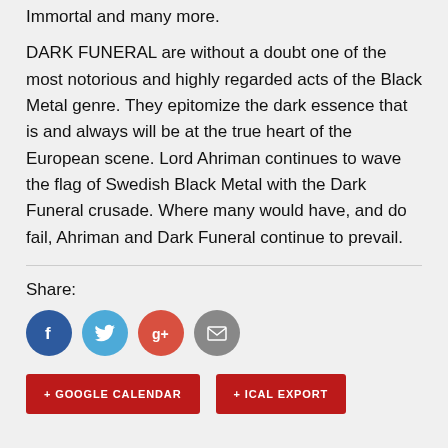Immortal and many more.
DARK FUNERAL are without a doubt one of the most notorious and highly regarded acts of the Black Metal genre. They epitomize the dark essence that is and always will be at the true heart of the European scene. Lord Ahriman continues to wave the flag of Swedish Black Metal with the Dark Funeral crusade. Where many would have, and do fail, Ahriman and Dark Funeral continue to prevail.
Share:
[Figure (infographic): Social share buttons: Facebook (blue circle with f), Twitter (light blue circle with bird), Google+ (red circle with g+), Email (grey circle with envelope)]
+ GOOGLE CALENDAR
+ ICAL EXPORT